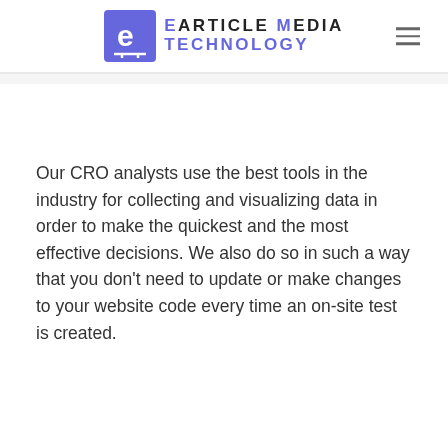[Figure (logo): eArticle Media Technology logo with purple square icon containing white letter e, and company name text in black and purple]
Our CRO analysts use the best tools in the industry for collecting and visualizing data in order to make the quickest and the most effective decisions. We also do so in such a way that you don't need to update or make changes to your website code every time an on-site test is created.